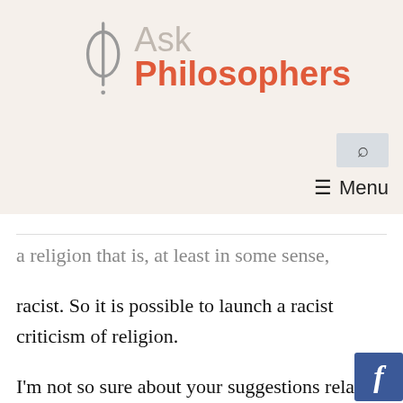Ask Philosophers
a religion that is, at least in some sense, racist. So it is possible to launch a racist criticism of religion.
I'm not so sure about your suggestions relating to this question, though. Consider the two most popular religions on earth (I may actually be wrong about this... but at
[Figure (logo): Facebook badge icon in bottom right corner]